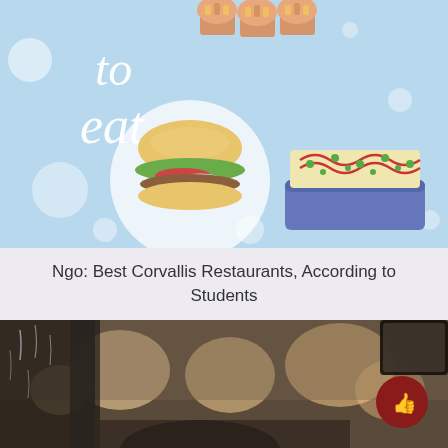[Figure (illustration): Light blue illustrated background with food items: a burger in a white circle, decorated cookies/pastry on a blue tray, and partial text 'to eat' in white handwritten style. Decorative white dots scattered throughout.]
Ngo: Best Corvallis Restaurants, According to Students
[Figure (photo): Interior view from inside a car with rain-spotted window, showing blurred bokeh lights in a parking area or drive-through. A person's hand is partially visible.]